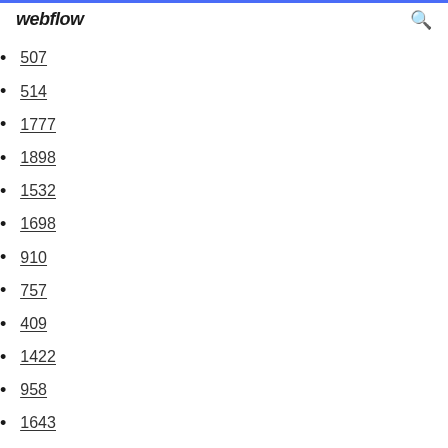webflow
507
514
1777
1898
1532
1698
910
757
409
1422
958
1643